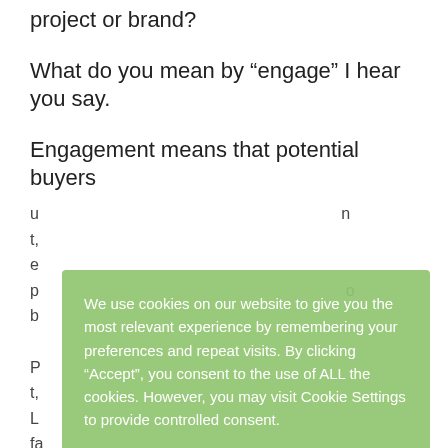project or brand?
What do you mean by “engage” I hear you say.
Engagement means that potential buyers
u... n
t...
e...
p... o
b...
P...
t...
L...
fa...
v... e
a line in this.
We use cookies on our website to give you the most relevant experience by remembering your preferences and repeat visits. By clicking “Accept”, you consent to the use of ALL the cookies. However, you may visit Cookie Settings to provide controlled consent.
Read More
Cookie Settings
REJECT
ACCEPT